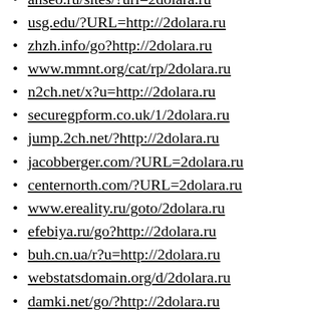anseo.ru/sites/?url=2dolara.ru
usg.edu/?URL=http://2dolara.ru
zhzh.info/go?http://2dolara.ru
www.mmnt.org/cat/rp/2dolara.ru
n2ch.net/x?u=http://2dolara.ru
securegpform.co.uk/1/2dolara.ru
jump.2ch.net/?http://2dolara.ru
jacobberger.com/?URL=2dolara.ru
centernorth.com/?URL=2dolara.ru
www.ereality.ru/goto/2dolara.ru
efebiya.ru/go?http://2dolara.ru
buh.cn.ua/r?u=http://2dolara.ru
webstatsdomain.org/d/2dolara.ru
damki.net/go/?http://2dolara.ru
athemes.ru/go?http://2dolara.ru
idli.st/go/?u=http://2dolara.ru
sc.devb.gov.hk/TuniS/2dolara.ru
nigc.gov/?URL=http://2dolara.ru